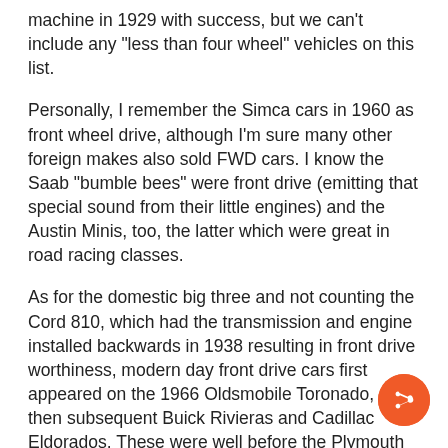machine in 1929 with success, but we can't include any "less than four wheel" vehicles on this list.
Personally, I remember the Simca cars in 1960 as front wheel drive, although I'm sure many other foreign makes also sold FWD cars. I know the Saab "bumble bees" were front drive (emitting that special sound from their little engines) and the Austin Minis, too, the latter which were great in road racing classes.
As for the domestic big three and not counting the Cord 810, which had the transmission and engine installed backwards in 1938 resulting in front drive worthiness, modern day front drive cars first appeared on the 1966 Oldsmobile Toronado, and then subsequent Buick Rivieras and Cadillac Eldorados. These were well before the Plymouth Horizon and Dodge Omni of 1978, followed by Chevy's Citation, which came about in 1980. After 1980, many manufacturers introduced front drive